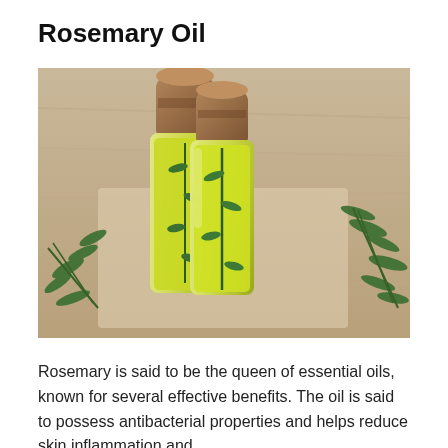Rosemary Oil
[Figure (photo): Two small glass bottles filled with yellow rosemary essential oil, sealed with cork stoppers, surrounded by fresh green rosemary sprigs on a wooden surface.]
Rosemary is said to be the queen of essential oils, known for several effective benefits. The oil is said to possess antibacterial properties and helps reduce skin inflammation and